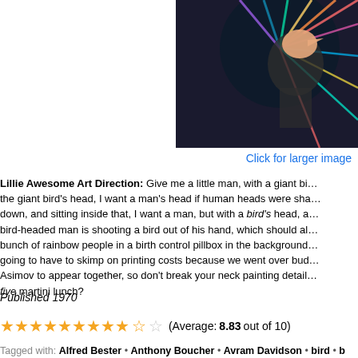[Figure (photo): Partial book cover image showing colorful swirling design with figure, dark background]
Click for larger image
Lillie Awesome Art Direction: Give me a little man, with a giant bird's head, I want a man's head if human heads were shaped...down, and sitting inside that, I want a man, but with a bird's head, a bird-headed man is shooting a bird out of his hand, which should al...bunch of rainbow people in a birth control pillbox in the background...going to have to skimp on printing costs because we went over bud...Asimov to appear together, so don't break your neck painting detail...five martini lunch?
Published 1970
(Average: 8.83 out of 10)
Tagged with: Alfred Bester • Anthony Boucher • Avram Davidson • bird • b... Knight • detachable head • George P. Elliott • Howard Fast • Isaac Asimov... Van Doren • Paperback Library • people with animals for heads • Poul An... • Robert A. Heinlein • Robert P. Mills • Theodore Sturgeon • Unknown Art...